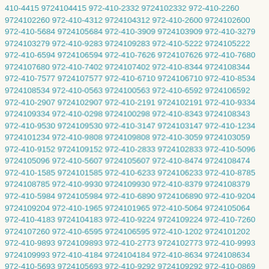410-4415 9724104415 972-410-2332 9724102332 972-410-2260 9724102260 972-410-4312 9724104312 972-410-2600 9724102600 972-410-5684 9724105684 972-410-3909 9724103909 972-410-3279 9724103279 972-410-9283 9724109283 972-410-5222 9724105222 972-410-6594 9724106594 972-410-7626 9724107626 972-410-7680 9724107680 972-410-7402 9724107402 972-410-8344 9724108344 972-410-7577 9724107577 972-410-6710 9724106710 972-410-8534 9724108534 972-410-0563 9724100563 972-410-6592 9724106592 972-410-2907 9724102907 972-410-2191 9724102191 972-410-9334 9724109334 972-410-0298 9724100298 972-410-8343 9724108343 972-410-9530 9724109530 972-410-3147 9724103147 972-410-1234 9724101234 972-410-9808 9724109808 972-410-3059 9724103059 972-410-9152 9724109152 972-410-2833 9724102833 972-410-5096 9724105096 972-410-5607 9724105607 972-410-8474 9724108474 972-410-1585 9724101585 972-410-6233 9724106233 972-410-8785 9724108785 972-410-9930 9724109930 972-410-8379 9724108379 972-410-5984 9724105984 972-410-6890 9724106890 972-410-9204 9724109204 972-410-1965 9724101965 972-410-5064 9724105064 972-410-4183 9724104183 972-410-9224 9724109224 972-410-7260 9724107260 972-410-6595 9724106595 972-410-1202 9724101202 972-410-9893 9724109893 972-410-2773 9724102773 972-410-9993 9724109993 972-410-4184 9724104184 972-410-8634 9724108634 972-410-5693 9724105693 972-410-9292 9724109292 972-410-0869 9724100869 972-410-2753 9724102753 972-410-1285 9724101285 972-410-8322 9724108322 972-410-7654 9724107654 972-410-1158 9724101158 972-410-4735 9724104735 972-410-3661 9724103661 972-410-4673 9724104673 972-410-3690 9724103690 972-410-7286